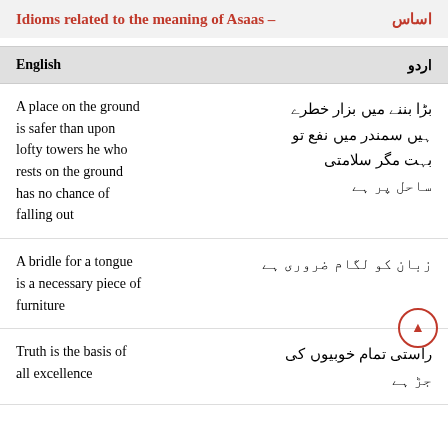Idioms related to the meaning of Asaas - اساس
| English | اردو |
| --- | --- |
| A place on the ground is safer than upon lofty towers he who rests on the ground has no chance of falling out | بڑا بننے میں بزار خطرے ہیں سمندر میں نفع تو بہت مگر سلامتی ساحل پر ہے |
| A bridle for a tongue is a necessary piece of furniture | زبان کو لگام ضروری ہے |
| Truth is the basis of all excellence | راستی تمام خوبیوں کی جڑ ہے |